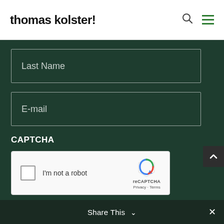thomas kolster!
Last Name
E-mail
CAPTCHA
[Figure (other): reCAPTCHA widget with checkbox labeled 'I'm not a robot' and reCAPTCHA logo with Privacy and Terms links]
Share This ✕